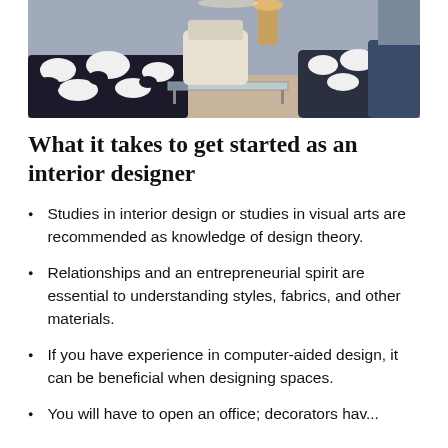[Figure (photo): Interior design room photo showing a stylish living space with black and white patterned furniture, a glass coffee table, armchairs, and decorative elements.]
What it takes to get started as an interior designer
Studies in interior design or studies in visual arts are recommended as knowledge of design theory.
Relationships and an entrepreneurial spirit are essential to understanding styles, fabrics, and other materials.
If you have experience in computer-aided design, it can be beneficial when designing spaces.
You will have to open an office; decorators hav...